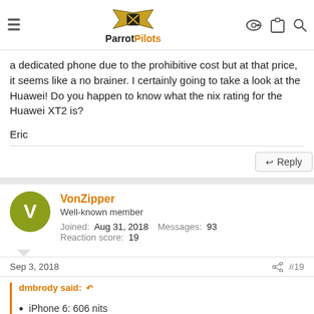ParrotPilots
a dedicated phone due to the prohibitive cost but at that price, it seems like a no brainer. I certainly going to take a look at the Huawei! Do you happen to know what the nix rating for the Huawei XT2 is?
Eric
Reply
VonZipper
Well-known member
Joined: Aug 31, 2018  Messages: 93
Reaction score: 19
Sep 3, 2018  #19
dmbrody said:
iPhone 6: 606 nits